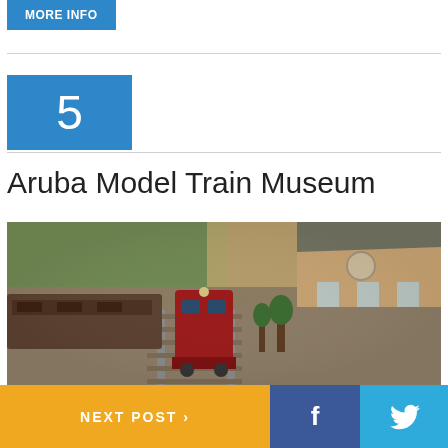More Info
5
Aruba Model Train Museum
[Figure (photo): Photo of a model train layout showing a red train on tracks, miniature buildings including a station house, trees and scenery in the background, photographed with shallow depth of field bokeh effect]
NEXT POST >
f
Twitter bird icon
...